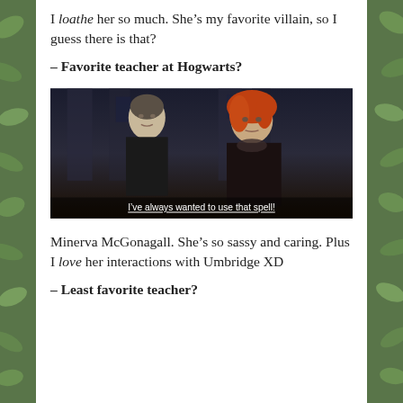I loathe her so much. She’s my favorite villain, so I guess there is that?
– Favorite teacher at Hogwarts?
[Figure (photo): Movie still showing two women standing side by side in a dark setting, with subtitle text: I've always wanted to use that spell!]
Minerva McGonagall. She’s so sassy and caring. Plus I love her interactions with Umbridge XD
– Least favorite teacher?